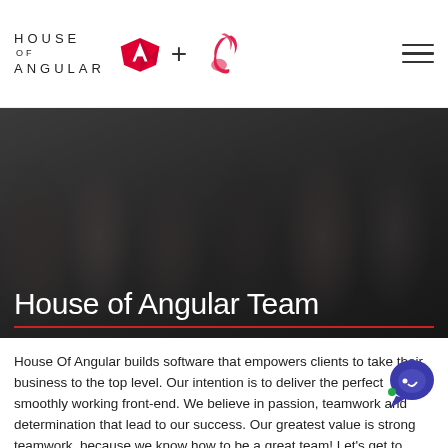HOUSE OF ANGULAR + [NestJS logo]
[Figure (photo): Group photo of House of Angular team members, dark overlay, multiple people standing and sitting]
House of Angular Team
House Of Angular builds software that empowers clients to take their business to the top level. Our intention is to deliver the perfect smoothly working front-end. We believe in passion, teamwork and determination that lead to our success. Our greatest value is strong teamwork, because we know how to be a great team! Let's get to know each other!
[Figure (illustration): Blue chat/support widget icon in bottom right corner]
[Figure (photo): Bottom partial photo strip showing a person]